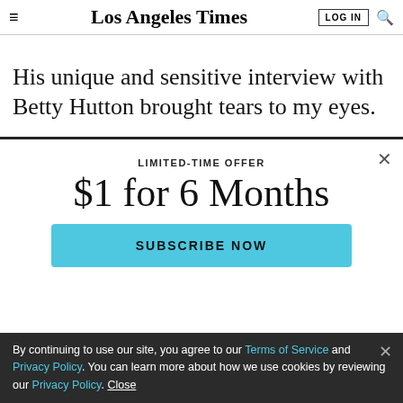Los Angeles Times | LOG IN | Search
His unique and sensitive interview with Betty Hutton brought tears to my eyes.
LIMITED-TIME OFFER
$1 for 6 Months
SUBSCRIBE NOW
By continuing to use our site, you agree to our Terms of Service and Privacy Policy. You can learn more about how we use cookies by reviewing our Privacy Policy. Close